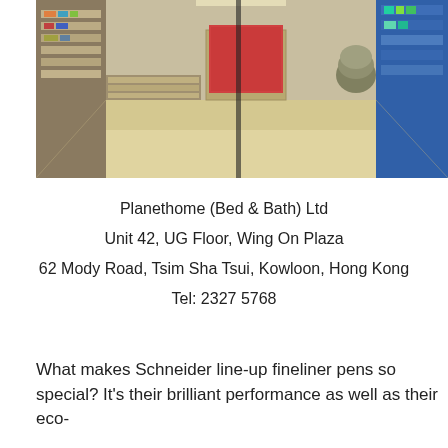[Figure (photo): Interior photo of Planethome store showing shelves with products, a wooden floor, and display units on both sides]
Planethome (Bed & Bath) Ltd
Unit 42, UG Floor, Wing On Plaza
62 Mody Road, Tsim Sha Tsui, Kowloon, Hong Kong
Tel: 2327 5768
What makes Schneider line-up fineliner pens so special? It's their brilliant performance as well as their eco-